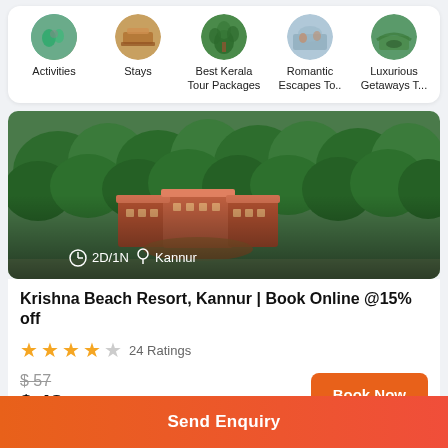[Figure (screenshot): Top navigation bar with category icons: Activities, Stays, Best Kerala Tour Packages, Romantic Escapes To.., Luxurious Getaways T...]
[Figure (photo): Aerial view of Krishna Beach Resort surrounded by dense green trees in Kannur, showing terracotta-roofed resort buildings. Overlay text: 2D/1N and Kannur.]
Krishna Beach Resort, Kannur | Book Online @15% off
24 Ratings (4 out of 5 stars)
$ 57 (original price, crossed out)
$ 48 (current price)
Book Now
Send Enquiry